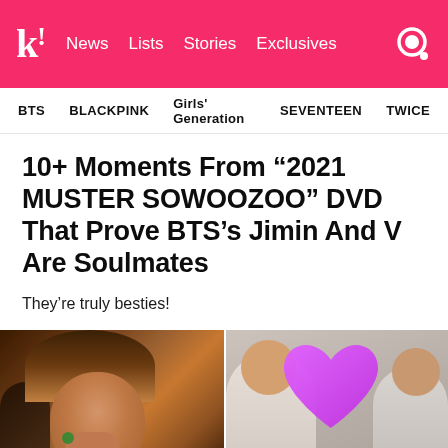k! News Lists Stories Exclusives
BTS BLACKPINK Girls' Generation SEVENTEEN TWICE
10+ Moments From “2021 MUSTER SOWOOZOO” DVD That Prove BTS’s Jimin And V Are Soulmates
They’re truly besties!
[Figure (photo): Left: close-up of a young man (V from BTS) with brown hair, hand near face. Right: two people sitting with a large purple/pink heart graphic overlay.]